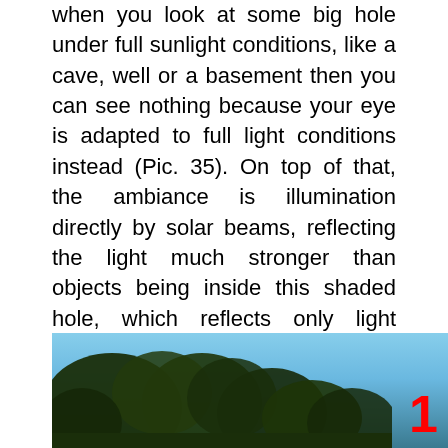when you look at some big hole under full sunlight conditions, like a cave, well or a basement then you can see nothing because your eye is adapted to full light conditions instead (Pic. 35). On top of that, the ambiance is illumination directly by solar beams, reflecting the light much stronger than objects being inside this shaded hole, which reflects only light scattered in the atmosphere. As our sight approaches closer to this shaded area, our view of sight loses the regions with stronger illumination and the interior objects become visible. In this case, a transition area is a moment, when our sight range likewise in cameras begins to cover a shaded area only.
[Figure (photo): Photograph showing tree silhouettes against a blue sky, with a red number '1' in the bottom right corner.]